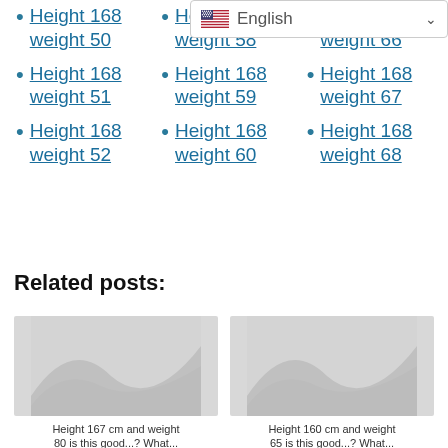[Figure (screenshot): English language selector dropdown bar with US flag]
Height 168 weight 50
Height 168 weight 58
Height 168 weight 66
Height 168 weight 51
Height 168 weight 59
Height 168 weight 67
Height 168 weight 52
Height 168 weight 60
Height 168 weight 68
Related posts:
Height 167 cm and weight 80 is this good...? What...
Height 160 cm and weight 65 is this good...? What...